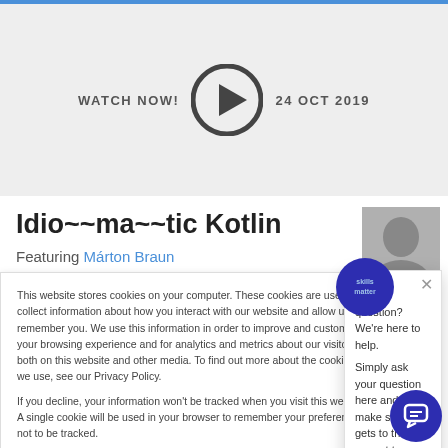[Figure (screenshot): Website screenshot showing a video watch banner with play button, title 'Idio~~ma~~tic Kotlin', cookie consent overlay, and chat help popup]
WATCH NOW!   24 OCT 2019
Idio~~ma~~tic Kotlin
Featuring Márton Braun
This website stores cookies on your computer. These cookies are used to collect information about how you interact with our website and allow us to remember you. We use this information in order to improve and customize your browsing experience and for analytics and metrics about our visitors both on this website and other media. To find out more about the cookies we use, see our Privacy Policy.
If you decline, your information won't be tracked when you visit this website. A single cookie will be used in your browser to remember your preference not to be tracked.
Got a question? We're here to help.
Simply ask your question here and we'll make sure it gets to the correct team member!
Accept All
Decline All